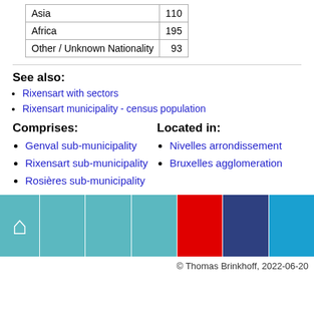| Asia | 110 |
| Africa | 195 |
| Other / Unknown Nationality | 93 |
See also:
Rixensart with sectors
Rixensart municipality - census population
Comprises:
Genval sub-municipality
Rixensart sub-municipality
Rosières sub-municipality
Located in:
Nivelles arrondissement
Bruxelles agglomeration
[Figure (infographic): Navigation bar with home icon and colored blocks (teal, red, dark blue, light blue)]
© Thomas Brinkhoff, 2022-06-20